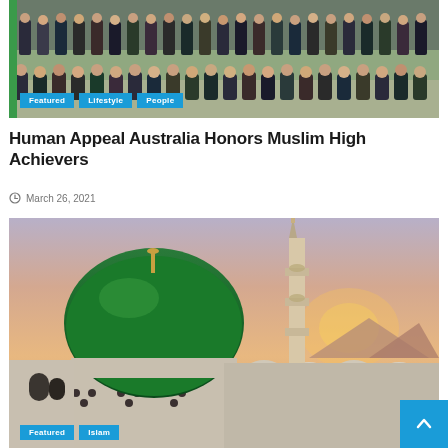[Figure (photo): Group photo of many men in formal attire (suits and ties) arranged in rows, likely at an event or gathering]
Featured
Lifestyle
People
Human Appeal Australia Honors Muslim High Achievers
March 26, 2021
[Figure (photo): Mosque with large green dome and minaret against a sunset/dusk sky with warm orange and pink tones]
Featured
Islam